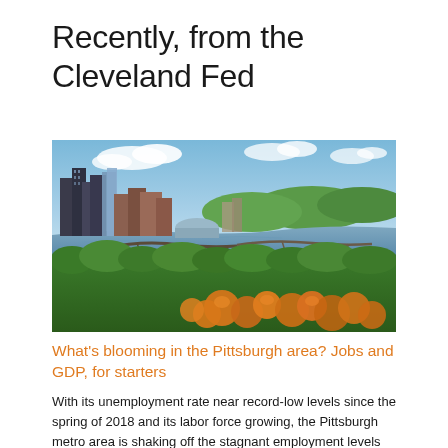Recently, from the Cleveland Fed
[Figure (photo): Aerial cityscape photo of Pittsburgh skyline with rivers, bridges, green trees and orange flowers in the foreground under a blue sky with clouds.]
What’s blooming in the Pittsburgh area? Jobs and GDP, for starters
With its unemployment rate near record-low levels since the spring of 2018 and its labor force growing, the Pittsburgh metro area is shaking off the stagnant employment levels dogging it between 2012 and